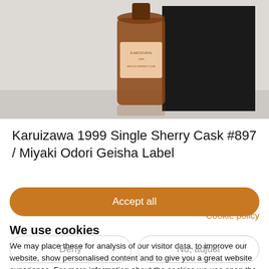[Figure (photo): Photo of a Karuizawa whisky bottle with black box packaging, partially cropped at the top of the page]
Karuizawa 1999 Single Sherry Cask #897 / Miyaki Odori Geisha Label
Winning Bid:
Cookie policy
We use cookies
We may place these for analysis of our visitor data, to improve our website, show personalised content and to give you a great website experience. For more information about the cookies we use open the settings.
Accept all
Deny
No, adjust